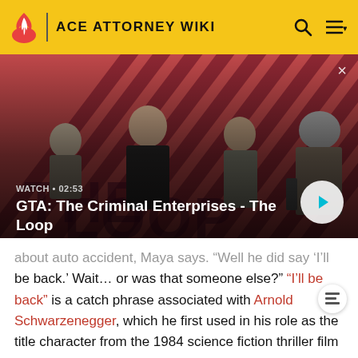ACE ATTORNEY WIKI
[Figure (screenshot): Video thumbnail for 'GTA: The Criminal Enterprises - The Loop' showing game characters on a red diagonal-stripe background, with watch time 02:53 and a play button.]
about auto accident, Maya says. 'Well he did say 'I'll be back.' Wait... or was that someone else?' "I'll be back" is a catch phrase associated with Arnold Schwarzenegger, which he first used in his role as the title character from the 1984 science fiction thriller film The Terminator.